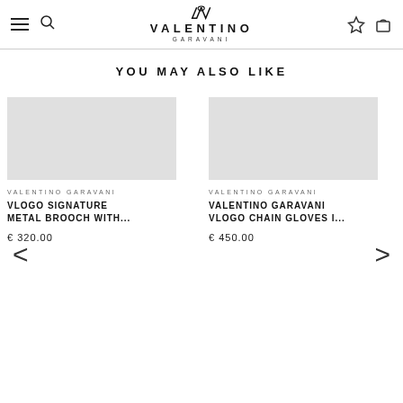Valentino Garavani
YOU MAY ALSO LIKE
[Figure (photo): Product image placeholder for VLOGO Signature Metal Brooch]
VALENTINO GARAVANI
VLOGO SIGNATURE METAL BROOCH WITH...
€ 320.00
[Figure (photo): Product image placeholder for Valentino Garavani VLogo Chain Gloves]
VALENTINO GARAVANI
VALENTINO GARAVANI VLOGO CHAIN GLOVES I...
€ 450.00